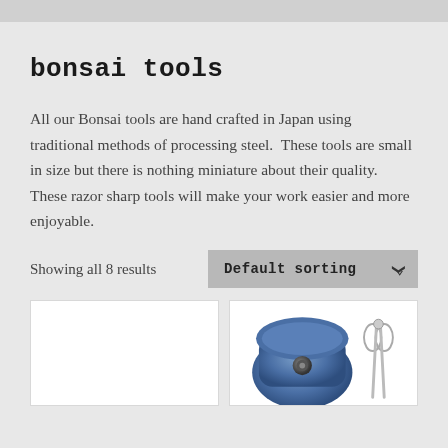bonsai tools
All our Bonsai tools are hand crafted in Japan using traditional methods of processing steel.  These tools are small in size but there is nothing miniature about their quality. These razor sharp tools will make your work easier and more enjoyable.
Showing all 8 results
[Figure (screenshot): Default sorting dropdown control with chevron]
[Figure (photo): Left product card - empty white card]
[Figure (photo): Right product card showing blue bonsai tool case and scissors]